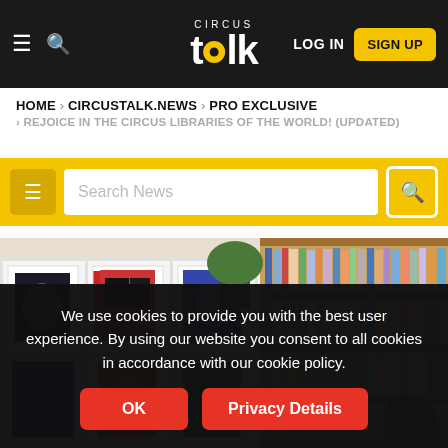CIRCUS talk — LOG IN | SIGN UP
HOME > CIRCUSTALK.NEWS > PRO EXCLUSIVE > REJOICE IN THE CIRCUS LIBRARIES OF THE WORLD! (UPDATED)
Search News
[Figure (photo): Interior of a circus library showing white cube shelves with colorful magazines/books displayed face-out on the left, and wooden bookshelves filled with books on the right. A person is seated reading in the right portion of the image.]
We use cookies to provide you with the best user experience. By using our website you consent to all cookies in accordance with our cookie policy.
OK
Privacy Details